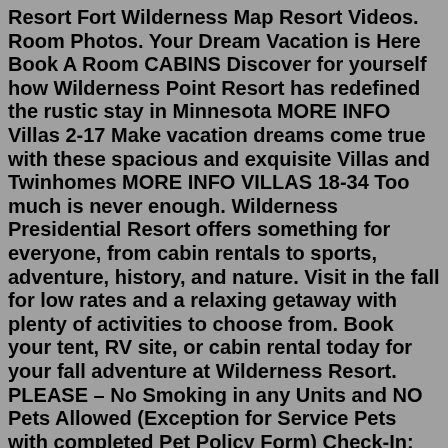Resort Fort Wilderness Map Resort Videos. Room Photos. Your Dream Vacation is Here Book A Room CABINS Discover for yourself how Wilderness Point Resort has redefined the rustic stay in Minnesota MORE INFO Villas 2-17 Make vacation dreams come true with these spacious and exquisite Villas and Twinhomes MORE INFO VILLAS 18-34 Too much is never enough. Wilderness Presidential Resort offers something for everyone, from cabin rentals to sports, adventure, history, and nature. Visit in the fall for low rates and a relaxing getaway with plenty of activities to choose from. Book your tent, RV site, or cabin rental today for your fall adventure at Wilderness Resort. PLEASE – No Smoking in any Units and NO Pets Allowed (Exception for Service Pets with completed Pet Policy Form) Check-In: 4:00 p.m. | Check-Out: 10:00 a.m. Must be 21 years of age or older to reserve and check-in to a Log Cabin. Members, please call for your preferred pricing. (540) 972-7433 ext. 1. For families looking for a rustic escape from the over the top theming that's still in the